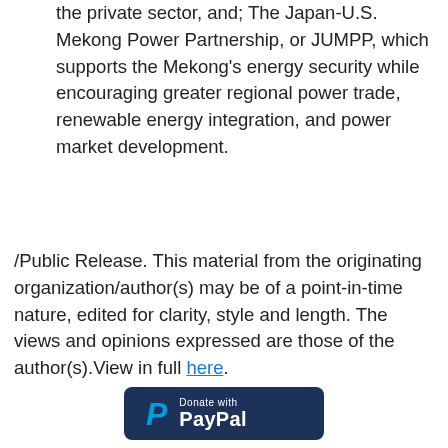the private sector, and; The Japan-U.S. Mekong Power Partnership, or JUMPP, which supports the Mekong's energy security while encouraging greater regional power trade, renewable energy integration, and power market development.
/Public Release. This material from the originating organization/author(s) may be of a point-in-time nature, edited for clarity, style and length. The views and opinions expressed are those of the author(s).View in full here.
[Figure (logo): PayPal Donate button — dark navy rounded rectangle with PayPal 'P' logo in blue and white text reading 'Donate with PayPal']